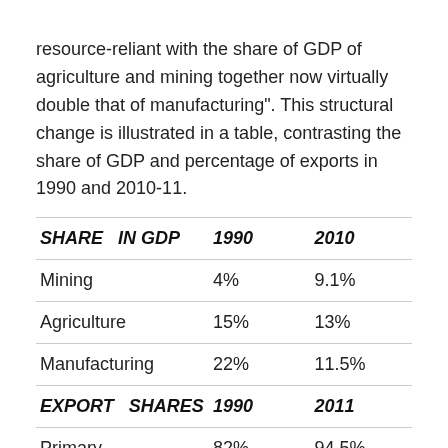resource-reliant with the share of GDP of agriculture and mining together now virtually double that of manufacturing". This structural change is illustrated in a table, contrasting the share of GDP and percentage of exports in 1990 and 2010-11.
| SHARE IN GDP | 1990 | 2010 |
| --- | --- | --- |
| Mining | 4% | 9.1% |
| Agriculture | 15% | 13% |
| Manufacturing | 22% | 11.5% |
| EXPORT SHARES | 1990 | 2011 |
| Primary | 82% | 94.5% |